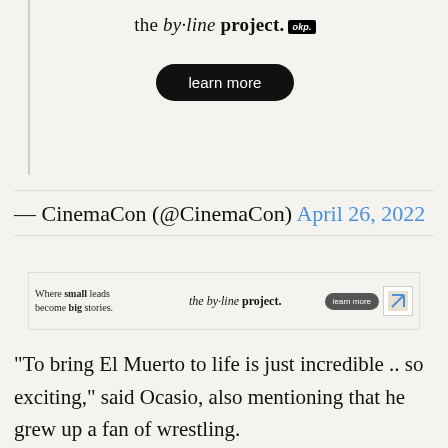[Figure (infographic): Advertisement for 'the by-line project' with tagline text and 'learn more' button, large format]
— CinemaCon (@CinemaCon) April 26, 2022
[Figure (infographic): Small banner advertisement for 'the by-line project' with tagline 'Where small leads become big stories' and learn more button]
“To bring El Muerto to life is just incredible .. so exciting,” said Ocasio, also mentioning that he grew up a fan of wrestling.